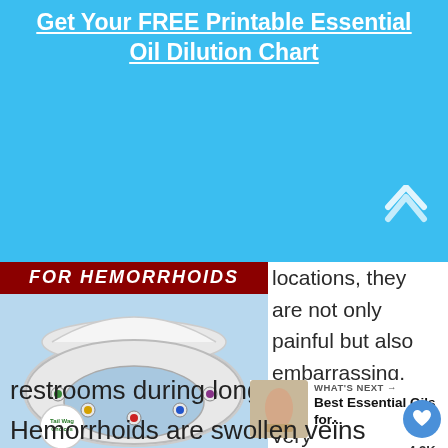Get Your FREE Printable Essential Oil Dilution Chart
[Figure (photo): Partial view of a toilet with a red banner reading 'FOR HEMORRHOIDS' at top, toilet seat decorated with colorful drawing pins/thumbtacks, and a circular logo badge at bottom left.]
locations, they are not only painful but also embarrassing. They make it very uncomfortable to sit in the
restrooms during long calls.
WHAT'S NEXT → Best Essential Oils for...
Hemorrhoids are swollen veins around the